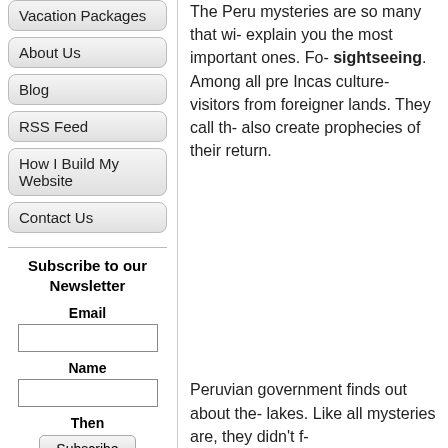Vacation Packages
About Us
Blog
RSS Feed
How I Build My Website
Contact Us
Subscribe to our Newsletter
Email
Name
Then
Subscribe
The Peru mysteries are so many that wi- explain you the most important ones. Fo- sightseeing. Among all pre Incas culture- visitors from foreigner lands. They call th- also create prophecies of their return.
Peruvian government finds out about the- lakes. Like all mysteries are, they didn't f-